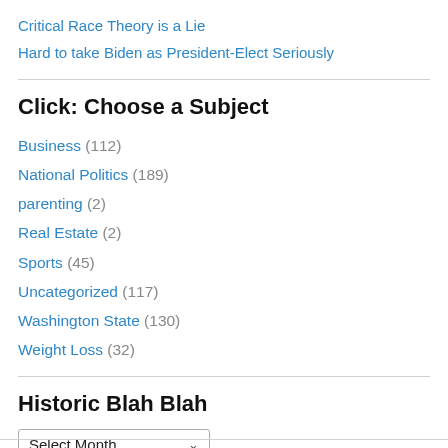Critical Race Theory is a Lie
Hard to take Biden as President-Elect Seriously
Click: Choose a Subject
Business (112)
National Politics (189)
parenting (2)
Real Estate (2)
Sports (45)
Uncategorized (117)
Washington State (130)
Weight Loss (32)
Historic Blah Blah
Select Month